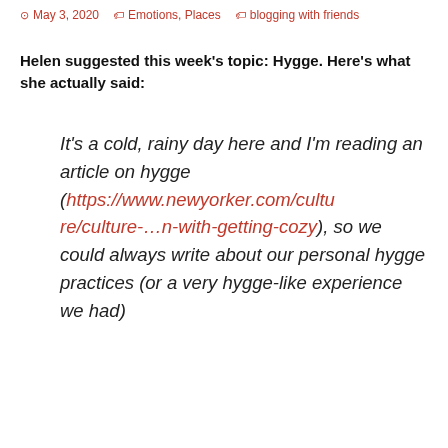May 3, 2020  |  Emotions, Places  |  blogging with friends
Helen suggested this week's topic: Hygge. Here's what she actually said:
It's a cold, rainy day here and I'm reading an article on hygge (https://www.newyorker.com/culture/culture-…n-with-getting-cozy), so we could always write about our personal hygge practices (or a very hygge-like experience we had)